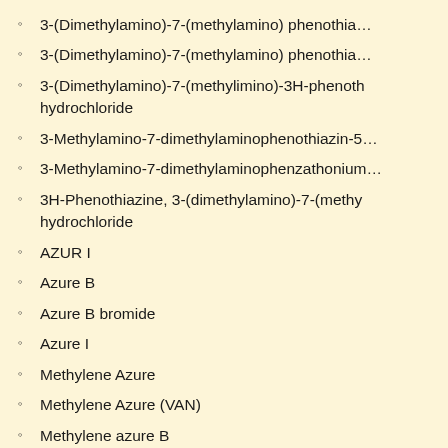3-(Dimethylamino)-7-(methylamino) phenothia…
3-(Dimethylamino)-7-(methylamino) phenothia…
3-(Dimethylamino)-7-(methylimino)-3H-phenoth… hydrochloride
3-Methylamino-7-dimethylaminophenothiazin-5…
3-Methylamino-7-dimethylaminophenzathonium…
3H-Phenothiazine, 3-(dimethylamino)-7-(methy… hydrochloride
AZUR I
Azure B
Azure B bromide
Azure I
Methylene Azure
Methylene Azure (VAN)
Methylene azure B
Modr Kresylova BB [Czech]